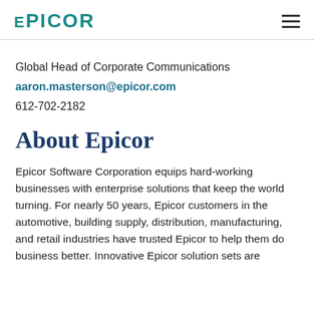EPICOR
Global Head of Corporate Communications
aaron.masterson@epicor.com
612-702-2182
About Epicor
Epicor Software Corporation equips hard-working businesses with enterprise solutions that keep the world turning. For nearly 50 years, Epicor customers in the automotive, building supply, distribution, manufacturing, and retail industries have trusted Epicor to help them do business better. Innovative Epicor solution sets are